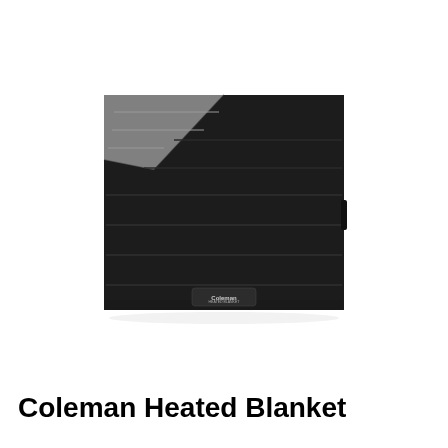[Figure (photo): A Coleman Heated Blanket shown partially folded back at the top-left corner, revealing a gray interior lining. The exterior is black quilted fabric with horizontal stitching lines. A Coleman brand label is visible near the bottom center of the blanket. The blanket is photographed from above on a white background.]
Coleman Heated Blanket